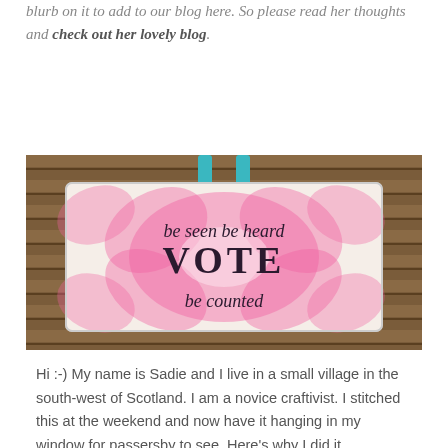blurb on it to add to our blog here. So please read her thoughts and check out her lovely blog.
[Figure (photo): A cross-stitched hanging sign with a pink tie-dye background on a woven/canvas fabric, hung by a teal/turquoise ribbon. Text on the sign reads: 'be seen  be heard  VOTE  be counted' in decorative black lettering. The sign is photographed against a wooden slatted background.]
Hi :-) My name is Sadie and I live in a small village in the south-west of Scotland. I am a novice craftivist. I stitched this at the weekend and now have it hanging in my window for passersby to see. Here's why I did it.